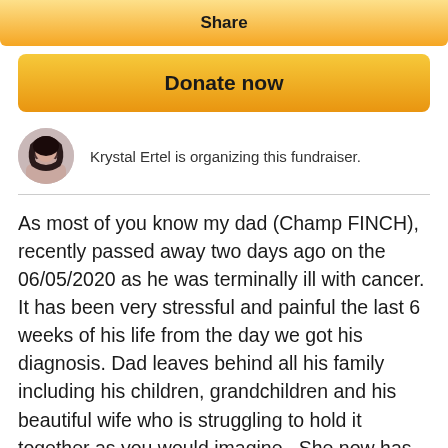Share
Donate now
Krystal Ertel is organizing this fundraiser.
As most of you know my dad (Champ FINCH), recently passed away two days ago on the 06/05/2020 as he was terminally ill with cancer. It has been very stressful and painful the last 6 weeks of his life from the day we got his diagnosis. Dad leaves behind all his family including his children, grandchildren and his beautiful wife who is struggling to hold it together as you would imagine.  She now has to care for my disabled adult brother whom needs 24 hour care and his 3 grandchildren in which mum has full custody of ongoing, one of them also has severe